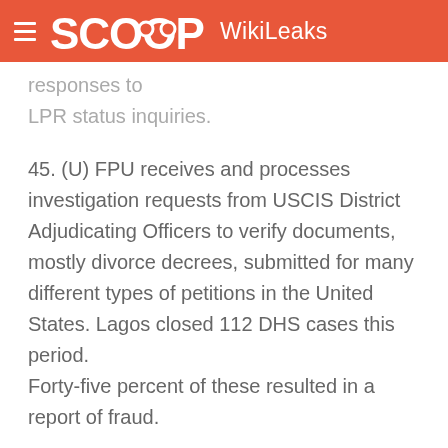SCOOP WikiLeaks
responses to LPR status inquiries.
45. (U) FPU receives and processes investigation requests from USCIS District Adjudicating Officers to verify documents, mostly divorce decrees, submitted for many different types of petitions in the United States. Lagos closed 112 DHS cases this period. Forty-five percent of these resulted in a report of fraud.